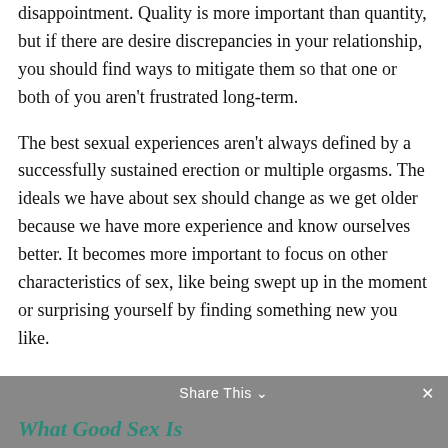disappointment. Quality is more important than quantity, but if there are desire discrepancies in your relationship, you should find ways to mitigate them so that one or both of you aren't frustrated long-term.
The best sexual experiences aren't always defined by a successfully sustained erection or multiple orgasms. The ideals we have about sex should change as we get older because we have more experience and know ourselves better. It becomes more important to focus on other characteristics of sex, like being swept up in the moment or surprising yourself by finding something new you like.
What Good Sex Is